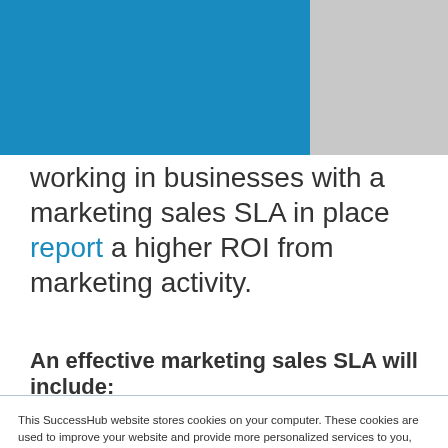[Figure (other): Blue header bar on the left and gray block on the right forming a decorative page header]
working in businesses with a marketing sales SLA in place report a higher ROI from marketing activity.
An effective marketing sales SLA will include:
This SuccessHub website stores cookies on your computer. These cookies are used to improve your website and provide more personalized services to you, both on this website and through other media. To find out more about the cookies we use, see our Privacy Policy.
We won't track your information when you visit our site. But in order to comply with your preferences, we'll have to use just one tiny cookie so that you're not asked to make this choice again.